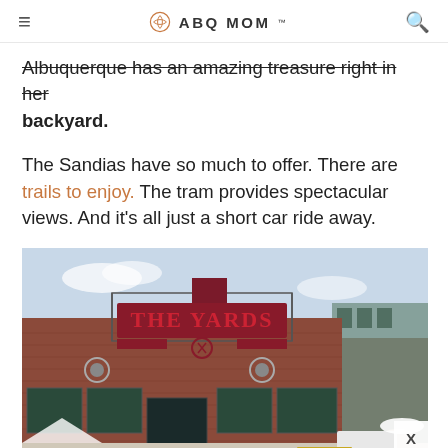ABQ MOM
Albuquerque has an amazing treasure right in her backyard.
The Sandias have so much to offer. There are trails to enjoy. The tram provides spectacular views. And it's all just a short car ride away.
[Figure (photo): Exterior of a brick building with a large red sign reading 'THE YARDS' mounted on the roofline, with large industrial windows and people in front.]